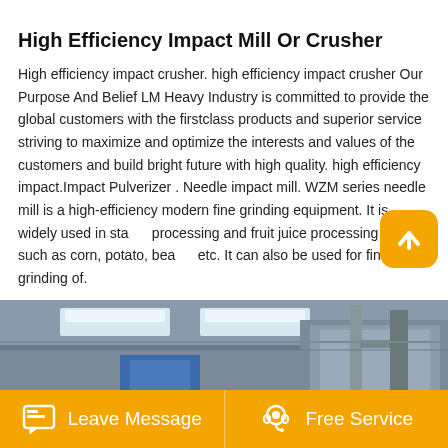[Figure (photo): Top image strip showing industrial machinery, partially cropped at top of page]
High Efficiency Impact Mill Or Crusher
High efficiency impact crusher. high efficiency impact crusher Our Purpose And Belief LM Heavy Industry is committed to provide the global customers with the firstclass products and superior service striving to maximize and optimize the interests and values of the customers and build bright future with high quality. high efficiency impact.Impact Pulverizer . Needle impact mill. WZM series needle mill is a high-efficiency modern fine grinding equipment. It is widely used in starch processing and fruit juice processing fields such as corn, potato, beans, etc. It can also be used for fine grinding of.
[Figure (photo): Interior of an industrial factory/warehouse showing large machinery and equipment with blue conveyor, skylights visible in the ceiling]
Leave Message    Free Service